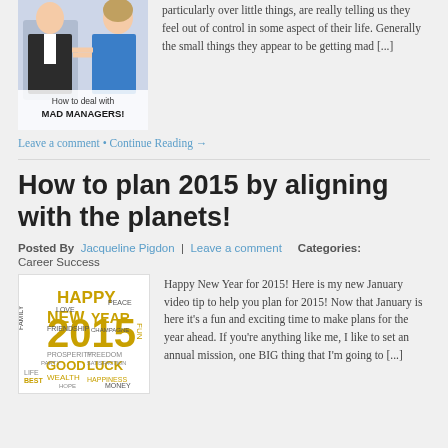[Figure (photo): Two people pointing at each other with text overlay 'How to deal with MAD MANAGERS!']
particularly over little things, are really telling us they feel out of control in some aspect of their life. Generally the small things they appear to be getting mad [...]
Leave a comment • Continue Reading →
How to plan 2015 by aligning with the planets!
Posted By  Jacqueline Pigdon  |  Leave a comment     Categories:  Career Success
[Figure (photo): Happy New Year 2015 word cloud with golden text on white background]
Happy New Year for 2015! Here is my new January video tip to help you plan for 2015! Now that January is here it's a fun and exciting time to make plans for the year ahead. If you're anything like me, I like to set an annual mission, one BIG thing that I'm going to [...]